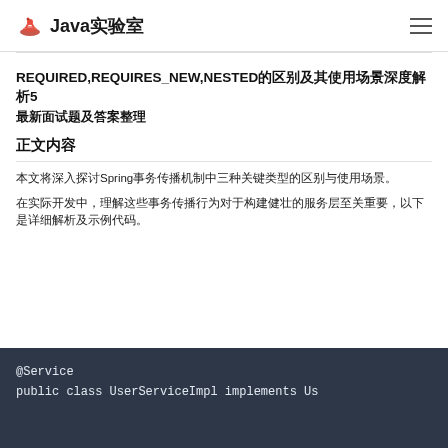Java实验室
REQUIRED,REQUIRES_NEW,NESTED的区别及其使用场景深度解析5
最新面试题及答案整理
正文内容
本文将深入探讨Spring事务传播机制中三种关键类型的区别与使用场景。
在实际开发中，理解这些事务传播行为对于构建健壮的服务层至关重要，以下是详细解析及示例代码。
[Figure (screenshot): Code block showing: @Service public class UserServiceImpl implements Us...]